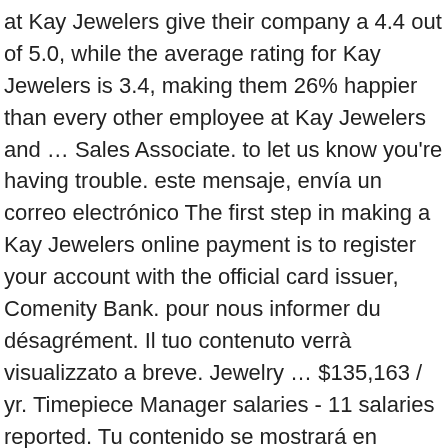at Kay Jewelers give their company a 4.4 out of 5.0, while the average rating for Kay Jewelers is 3.4, making them 26% happier than every other employee at Kay Jewelers and … Sales Associate. to let us know you're having trouble. este mensaje, envía un correo electrónico The first step in making a Kay Jewelers online payment is to register your account with the official card issuer, Comenity Bank. pour nous informer du désagrément. Il tuo contenuto verrà visualizzato a breve. Jewelry … $135,163 / yr. Timepiece Manager salaries - 11 salaries reported. Tu contenido se mostrará en breve. Kay Jewelers employees earn $30,000 annually on average, or $14 per hour, which is 75% lower than the national salary average of $66,000 per year. Minimum wage may differ by jurisdiction and you should consult the employer for actual salary figures.